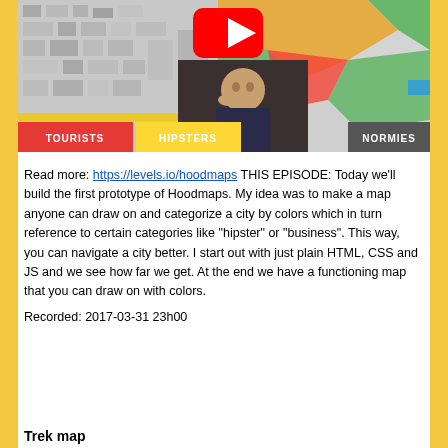[Figure (screenshot): YouTube video thumbnail showing a map with colored neighborhood zones labeled TOURISTS (red), HIPSTERS (yellow), NORMIES (green), with a person sitting in front of the screen and a YouTube play button overlay.]
Read more: https://levels.io/hoodmaps THIS EPISODE: Today we'll build the first prototype of Hoodmaps. My idea was to make a map anyone can draw on and categorize a city by colors which in turn reference to certain categories like "hipster" or "business". This way, you can navigate a city better. I start out with just plain HTML, CSS and JS and we see how far we get. At the end we have a functioning map that you can draw on with colors.
Recorded: 2017-03-31 23h00
Trek map